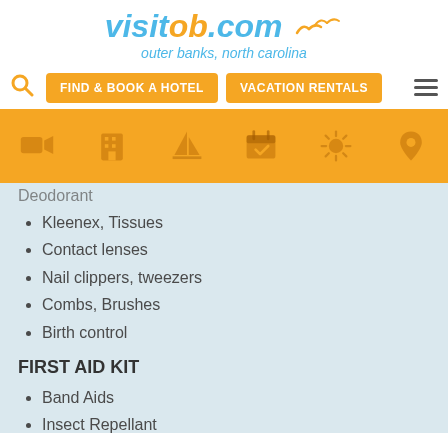[Figure (logo): visitob.com logo with seagulls — 'visit' in blue italic, 'ob' in orange italic, '.com' in blue italic, subtitle 'outer banks, north carolina' in blue italic below]
[Figure (screenshot): Navigation bar with orange search icon, two orange buttons 'FIND & BOOK A HOTEL' and 'VACATION RENTALS', and a hamburger menu icon on the right]
[Figure (infographic): Orange icon bar with 6 icons: video camera, hotel/building, sailboat, calendar, sun, map pin]
Deodorant (partially visible)
Kleenex, Tissues
Contact lenses
Nail clippers, tweezers
Combs, Brushes
Birth control
FIRST AID KIT
Band Aids
Insect Repellant
Lotion for Insect bites
Sunscreen
Aloe Vera Gel
Thermometers